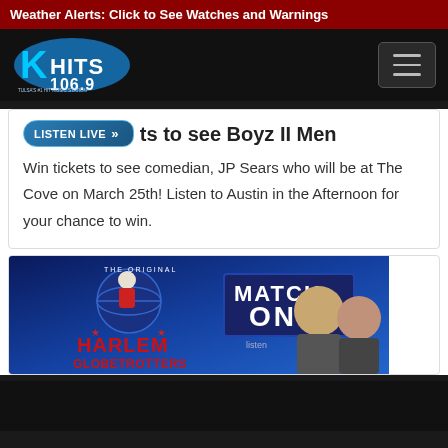Weather Alerts: Click to See Watches and Warnings
[Figure (logo): K-HITS 106.9 radio station logo, Tulsa's Hit Music Station]
Win tickets to see Boyz II Men
Win tickets to see comedian, JP Sears who will be at The Cove on March 25th! Listen to Austin in the Afternoon for your chance to win.
[Figure (photo): Harlem Globetrotters and Match One promotional image with two radio hosts]